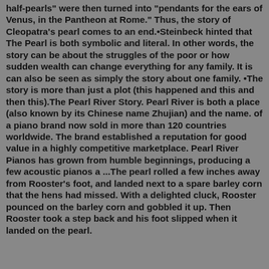half-pearls" were then turned into "pendants for the ears of Venus, in the Pantheon at Rome." Thus, the story of Cleopatra's pearl comes to an end.•Steinbeck hinted that The Pearl is both symbolic and literal. In other words, the story can be about the struggles of the poor or how sudden wealth can change everything for any family. It is can also be seen as simply the story about one family. •The story is more than just a plot (this happened and this and then this).The Pearl River Story. Pearl River is both a place (also known by its Chinese name Zhujian) and the name. of a piano brand now sold in more than 120 countries worldwide. The brand established a reputation for good value in a highly competitive marketplace. Pearl River Pianos has grown from humble beginnings, producing a few acoustic pianos a ...The pearl rolled a few inches away from Rooster's foot, and landed next to a spare barley corn that the hens had missed. With a delighted cluck, Rooster pounced on the barley corn and gobbled it up. Then Rooster took a step back and his foot slipped when it landed on the pearl.